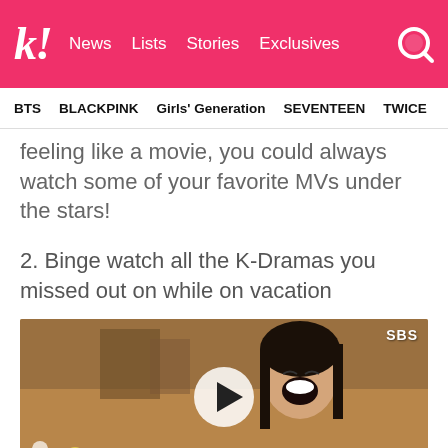k! News Lists Stories Exclusives
BTS BLACKPINK Girls' Generation SEVENTEEN TWICE
feeling like a movie, you could always watch some of your favorite MVs under the stars!
2. Binge watch all the K-Dramas you missed out on while on vacation
[Figure (screenshot): Video thumbnail showing a woman laughing with mouth open, SBS watermark in top right, play button overlay in center, flowers in bottom left. Scene from a Korean drama on SBS.]